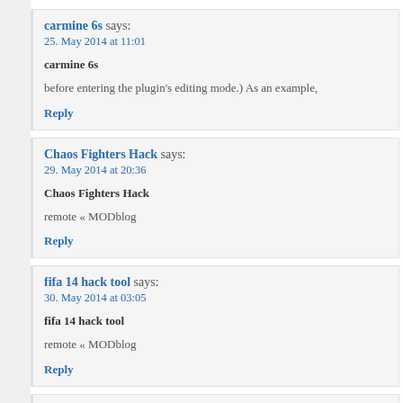carmine 6s says:
25. May 2014 at 11:01

carmine 6s

before entering the plugin's editing mode.) As an example,

Reply
Chaos Fighters Hack says:
29. May 2014 at 20:36

Chaos Fighters Hack

remote « MODblog

Reply
fifa 14 hack tool says:
30. May 2014 at 03:05

fifa 14 hack tool

remote « MODblog

Reply
undead slayer cheat tool says:
30. May 2014 at 21:27